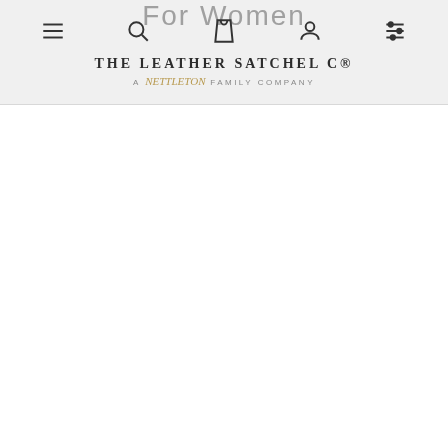For Women
[Figure (screenshot): Website navigation header with hamburger menu, search, bag, user account, and filter icons]
[Figure (logo): The Leather Satchel Co logo - A Nettleton Family Company]